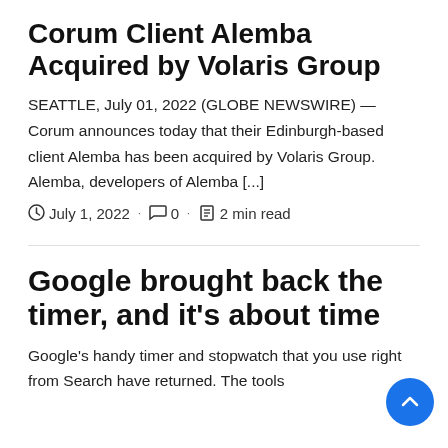Corum Client Alemba Acquired by Volaris Group
SEATTLE, July 01, 2022 (GLOBE NEWSWIRE) — Corum announces today that their Edinburgh-based client Alemba has been acquired by Volaris Group. Alemba, developers of Alemba [...]
July 1, 2022 · 0 · 2 min read
Google brought back the timer, and it's about time
Google's handy timer and stopwatch that you use right from Search have returned. The tools